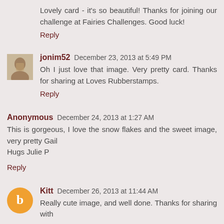Lovely card - it's so beautiful! Thanks for joining our challenge at Fairies Challenges. Good luck!
Reply
[Figure (photo): Small avatar photo of jonim52, person in light sweater]
jonim52  December 23, 2013 at 5:49 PM
Oh I just love that image. Very pretty card. Thanks for sharing at Loves Rubberstamps.
Reply
Anonymous  December 24, 2013 at 1:27 AM
This is gorgeous, I love the snow flakes and the sweet image, very pretty Gail
Hugs Julie P
Reply
[Figure (logo): Orange circle Blogger avatar with B letter]
Kitt  December 26, 2013 at 11:44 AM
Really cute image, and well done. Thanks for sharing with